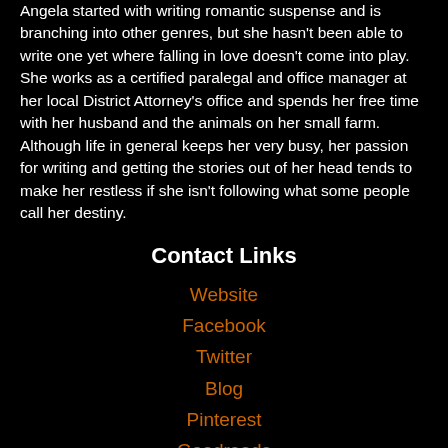Angela started with writing romantic suspense and is branching into other genres, but she hasn't been able to write one yet where falling in love doesn't come into play. She works as a certified paralegal and office manager at her local District Attorney's office and spends her free time with her husband and the animals on her small farm. Although life in general keeps her very busy, her passion for writing and getting the stories out of her head tends to make her restless if she isn't following what some people call her destiny.
Contact Links
Website
Facebook
Twitter
Blog
Pinterest
Goodreads
Purchase Links
Amazon